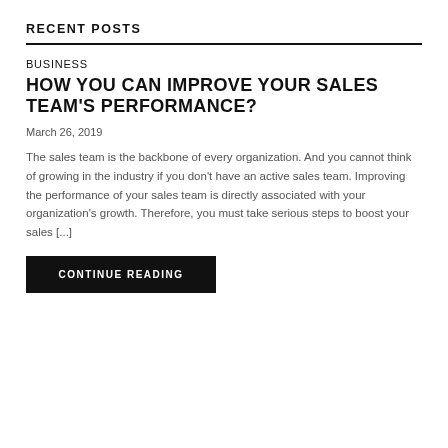RECENT POSTS
BUSINESS
HOW YOU CAN IMPROVE YOUR SALES TEAM'S PERFORMANCE?
March 26, 2019
The sales team is the backbone of every organization. And you cannot think of growing in the industry if you don't have an active sales team. Improving the performance of your sales team is directly associated with your organization's growth. Therefore, you must take serious steps to boost your sales [...]
CONTINUE READING